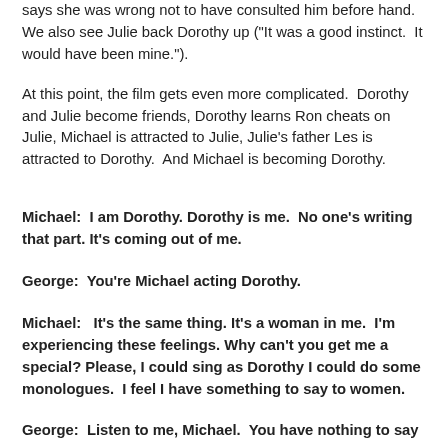says she was wrong not to have consulted him before hand. We also see Julie back Dorothy up ("It was a good instinct. It would have been mine.").
At this point, the film gets even more complicated. Dorothy and Julie become friends, Dorothy learns Ron cheats on Julie, Michael is attracted to Julie, Julie's father Les is attracted to Dorothy. And Michael is becoming Dorothy.
Michael: I am Dorothy. Dorothy is me. No one's writing that part. It's coming out of me.
George: You're Michael acting Dorothy.
Michael: It's the same thing. It's a woman in me. I'm experiencing these feelings. Why can't you get me a special? Please, I could sing as Dorothy I could do some monologues. I feel I have something to say to women.
George: Listen to me, Michael. You have nothing to say